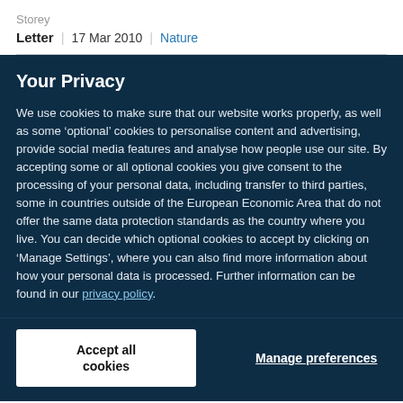Storey
Letter | 17 Mar 2010 | Nature
Your Privacy
We use cookies to make sure that our website works properly, as well as some ‘optional’ cookies to personalise content and advertising, provide social media features and analyse how people use our site. By accepting some or all optional cookies you give consent to the processing of your personal data, including transfer to third parties, some in countries outside of the European Economic Area that do not offer the same data protection standards as the country where you live. You can decide which optional cookies to accept by clicking on ‘Manage Settings’, where you can also find more information about how your personal data is processed. Further information can be found in our privacy policy.
Accept all cookies
Manage preferences